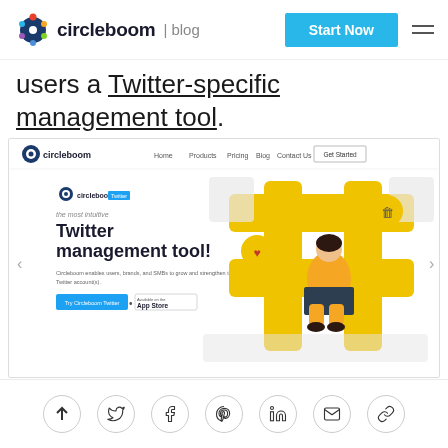circleboom | blog  [Start Now button] [hamburger menu]
users a Twitter-specific management tool.
[Figure (screenshot): Screenshot of the Circleboom website homepage showing the Twitter management tool landing page with navigation bar (Home, Products, Pricing, Blog, Contact Us, Get Started), headline 'Twitter management tool!', subtext about Circleboom enabling users brands and SMBs to grow and strengthen their Twitter account(s), CTA buttons 'Try Circleboom Twitter' and 'Available on the App Store', and a yellow hashtag illustration with a woman using a laptop.]
Share icons: up arrow, Twitter, Facebook, Pinterest, LinkedIn, email, link